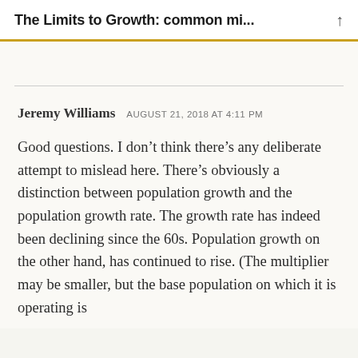The Limits to Growth: common mi...
Jeremy Williams   AUGUST 21, 2018 AT 4:11 PM
Good questions. I don’t think there’s any deliberate attempt to mislead here. There’s obviously a distinction between population growth and the population growth rate. The growth rate has indeed been declining since the 60s. Population growth on the other hand, has continued to rise. (The multiplier may be smaller, but the base population on which it is operating is